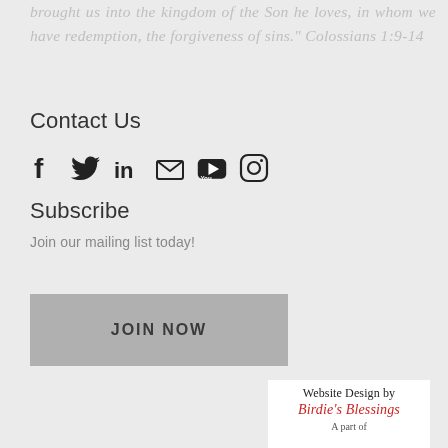brought us into the kingdom of the Son he loves, in whom we have redemption, the forgiveness of sins." Colossians 1:9-14
Contact Us
[Figure (infographic): Row of social media icons: Facebook, Twitter, LinkedIn, Email, YouTube, Instagram]
Subscribe
Join our mailing list today!
JOIN NOW
[Figure (logo): Website Design by Birdie's Blessings logo card with 'A part of' text and signature graphic]